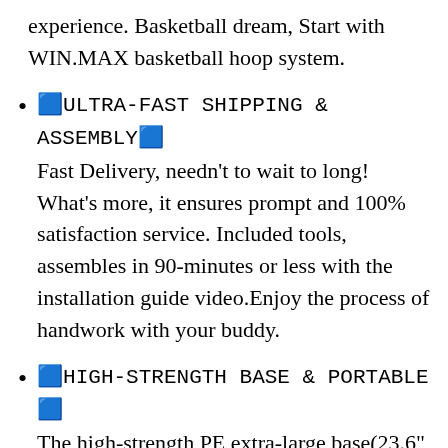experience. Basketball dream, Start with WIN.MAX basketball hoop system.
🟦ULTRA-FAST SHIPPING & ASSEMBLY🟦 Fast Delivery, needn't to wait to long! What's more, it ensures prompt and 100% satisfaction service. Included tools, assembles in 90-minutes or less with the installation guide video.Enjoy the process of handwork with your buddy.
🟦HIGH-STRENGTH BASE & PORTABLE🟦 The high-strength PE extra-large base(23.6" x 35.4") can be filled with water or sand to ensure good stability and safety for every shot. The dual bracket works with the elastic and